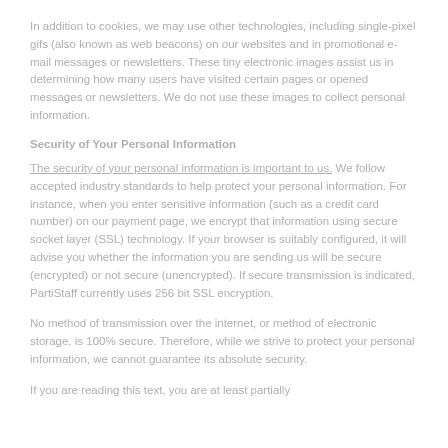In addition to cookies, we may use other technologies, including single-pixel gifs (also known as web beacons) on our websites and in promotional e-mail messages or newsletters. These tiny electronic images assist us in determining how many users have visited certain pages or opened messages or newsletters. We do not use these images to collect personal information.
Security of Your Personal Information
The security of your personal information is important to us. We follow accepted industry standards to help protect your personal information. For instance, when you enter sensitive information (such as a credit card number) on our payment page, we encrypt that information using secure socket layer (SSL) technology. If your browser is suitably configured, it will advise you whether the information you are sending us will be secure (encrypted) or not secure (unencrypted). If secure transmission is indicated, PartiStaff currently uses 256 bit SSL encryption.
No method of transmission over the internet, or method of electronic storage, is 100% secure. Therefore, while we strive to protect your personal information, we cannot guarantee its absolute security.
If you are reading this text, you are at least partially...